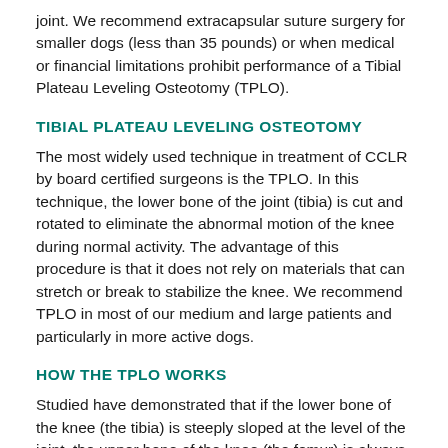joint. We recommend extracapsular suture surgery for smaller dogs (less than 35 pounds) or when medical or financial limitations prohibit performance of a Tibial Plateau Leveling Osteotomy (TPLO).
TIBIAL PLATEAU LEVELING OSTEOTOMY
The most widely used technique in treatment of CCLR by board certified surgeons is the TPLO. In this technique, the lower bone of the joint (tibia) is cut and rotated to eliminate the abnormal motion of the knee during normal activity. The advantage of this procedure is that it does not rely on materials that can stretch or break to stabilize the knee. We recommend TPLO in most of our medium and large patients and particularly in more active dogs.
HOW THE TPLO WORKS
Studied have demonstrated that if the lower bone of the knee (the tibia) is steeply sloped at the level of the joint, the upper bone of the knee (the femur) is always sliding down the tibia. This constant sliding places strain on the cruciate ligament, possibly causing it to fail. The TPLO surgery...